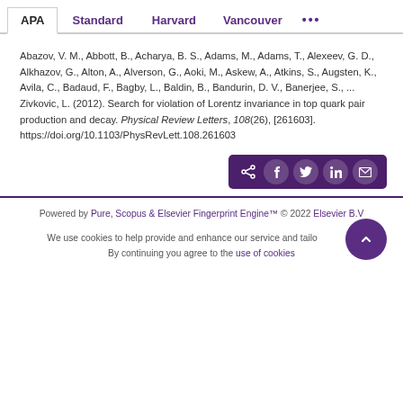APA | Standard | Harvard | Vancouver | ...
Abazov, V. M., Abbott, B., Acharya, B. S., Adams, M., Adams, T., Alexeev, G. D., Alkhazov, G., Alton, A., Alverson, G., Aoki, M., Askew, A., Atkins, S., Augsten, K., Avila, C., Badaud, F., Bagby, L., Baldin, B., Bandurin, D. V., Banerjee, S., ... Zivkovic, L. (2012). Search for violation of Lorentz invariance in top quark pair production and decay. Physical Review Letters, 108(26), [261603]. https://doi.org/10.1103/PhysRevLett.108.261603
[Figure (other): Social share button bar with share, Facebook, Twitter, LinkedIn, and email icons on dark purple background]
Powered by Pure, Scopus & Elsevier Fingerprint Engine™ © 2022 Elsevier B.V
We use cookies to help provide and enhance our service and tailor content. By continuing you agree to the use of cookies